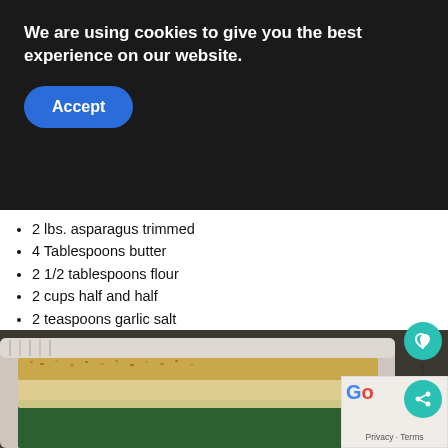We are using cookies to give you the best experience on our website.
Accept
2 lbs. asparagus trimmed
4 Tablespoons butter
2 1/2 tablespoons flour
2 cups half and half
2 teaspoons garlic salt
1 teaspoon onion powder
1 1/2 cups shredded parmesan cheese
1/2 cup Panko bread crumbs
[Figure (photo): Baking dish with asparagus covered in breadcrumbs and parmesan cheese, partially visible]